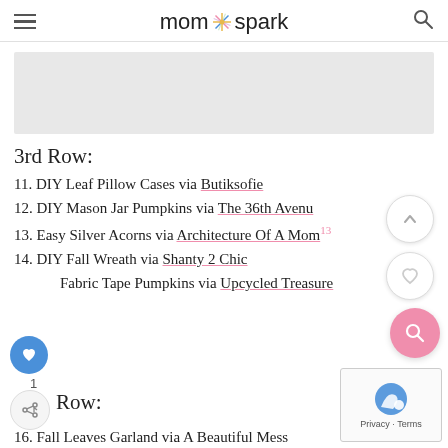mom spark
[Figure (photo): Gray placeholder image area]
3rd Row:
11. DIY Leaf Pillow Cases via Butiksofie
12. DIY Mason Jar Pumpkins via The 36th Avenue
13. Easy Silver Acorns via Architecture Of A Mom
14. DIY Fall Wreath via Shanty 2 Chic
15. Fabric Tape Pumpkins via Upcycled Treasures
Row:
16. Fall Leaves Garland via A Beautiful Mess